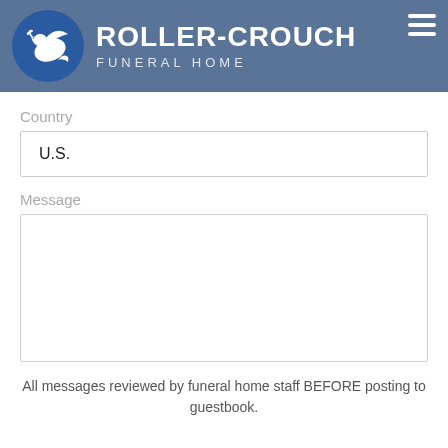[Figure (logo): Roller-Crouch Funeral Home logo with blue circle containing a white dove, company name in bold white text, and subtitle 'FUNERAL HOME' in spaced caps]
Country
U.S.
Message
All messages reviewed by funeral home staff BEFORE posting to guestbook.